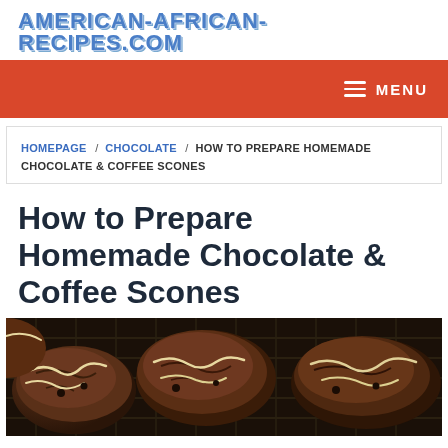AMERICAN-AFRICAN-RECIPES.COM
MENU
HOMEPAGE / CHOCOLATE / HOW TO PREPARE HOMEMADE CHOCOLATE & COFFEE SCONES
How to Prepare Homemade Chocolate & Coffee Scones
[Figure (photo): Chocolate and coffee scones with white icing drizzle on a cooling rack, viewed from above]